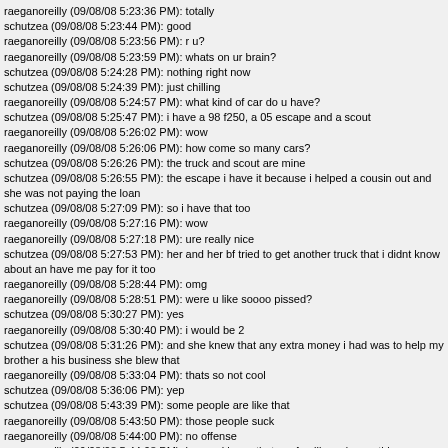raeganoreilly (09/08/08 5:23:36 PM): totally
schutzea (09/08/08 5:23:44 PM): good
raeganoreilly (09/08/08 5:23:56 PM): r u?
raeganoreilly (09/08/08 5:23:59 PM): whats on ur brain?
schutzea (09/08/08 5:24:28 PM): nothing right now
schutzea (09/08/08 5:24:39 PM): just chilling
raeganoreilly (09/08/08 5:24:57 PM): what kind of car do u have?
schutzea (09/08/08 5:25:47 PM): i have a 98 f250, a 05 escape and a scout
raeganoreilly (09/08/08 5:26:02 PM): wow
raeganoreilly (09/08/08 5:26:06 PM): how come so many cars?
schutzea (09/08/08 5:26:26 PM): the truck and scout are mine
schutzea (09/08/08 5:26:55 PM): the escape i have it because i helped a cousin out and she was not paying the loan
schutzea (09/08/08 5:27:09 PM): so i have that too
raeganoreilly (09/08/08 5:27:16 PM): wow
raeganoreilly (09/08/08 5:27:18 PM): ure really nice
schutzea (09/08/08 5:27:53 PM): her and her bf tried to get another truck that i didnt know about and have me pay for it too
raeganoreilly (09/08/08 5:28:44 PM): omg
raeganoreilly (09/08/08 5:28:51 PM): were u like soooo pissed?
schutzea (09/08/08 5:30:27 PM): yes
raeganoreilly (09/08/08 5:30:40 PM): i would be 2
schutzea (09/08/08 5:31:26 PM): and she knew that any extra money i had was to help my brother and his business she blew that
raeganoreilly (09/08/08 5:33:04 PM): thats so not cool
schutzea (09/08/08 5:36:06 PM): yep
schutzea (09/08/08 5:43:39 PM): some people are like that
raeganoreilly (09/08/08 5:43:50 PM): those people suck
raeganoreilly (09/08/08 5:44:00 PM): no offense
raeganoreilly (09/08/08 5:44:08 PM): i mean i know thats ur famiily and everything
raeganoreilly (09/08/08 5:44:12 PM): but thats so not cool
schutzea (09/08/08 5:45:04 PM): i dont talk to her and she is an outcast
schutzea (09/08/08 5:48:00 PM): sorry for boring u
raeganoreilly (09/08/08 5:48:34 PM): ure not boring me
schutzea (09/08/08 5:48:55 PM): ok then what am i doing
raeganoreilly (09/08/08 5:49:30 PM): talking to me
schutzea (09/08/08 5:49:38 PM): ok